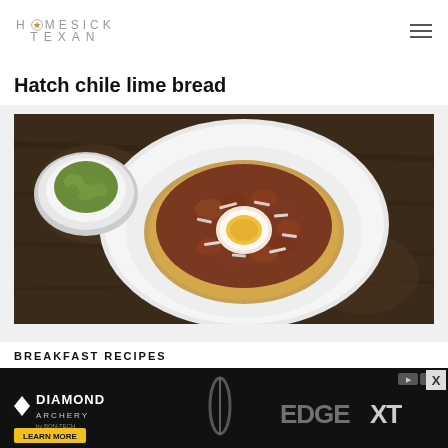HOMESICK TEXAN
Hatch chile lime bread
[Figure (photo): Overhead food photo: a white plate with a tortilla topped with stewed beans, a fried egg, and shredded white cheese; a small white bowl of guacamole sits behind the plate, on a dark brown rustic wooden table.]
BREAKFAST RECIPES
[Figure (photo): Diamond Archery advertisement banner showing Edge XT bow with 'LEARN MORE' button on dark background.]